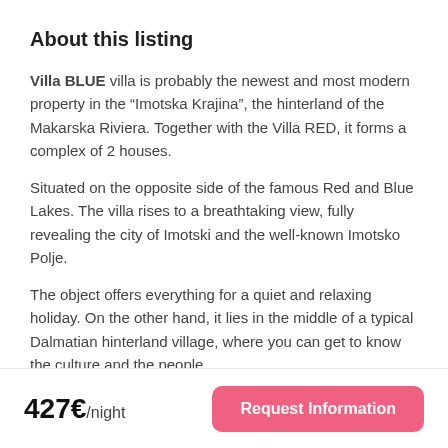About this listing
Villa BLUE villa is probably the newest and most modern property in the “Imotska Krajina”, the hinterland of the Makarska Riviera. Together with the Villa RED, it forms a complex of 2 houses.
Situated on the opposite side of the famous Red and Blue Lakes. The villa rises to a breathtaking view, fully revealing the city of Imotski and the well-known Imotsko Polje.
The object offers everything for a quiet and relaxing holiday. On the other hand, it lies in the middle of a typical Dalmatian hinterland village, where you can get to know the culture and the people.
On over 300m2 of luxurious living space and a newly built and fenced plot of over 1500m2, you can use both your own gym and
427€/night
Request Information